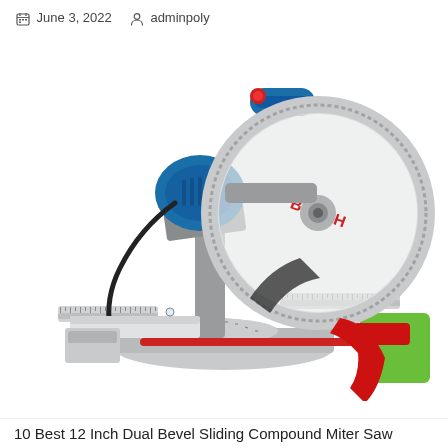June 3, 2022   adminpoly
[Figure (photo): Bosch dual bevel sliding compound miter saw with blue and silver body, circular blade with tooth guard, red handles and clamp, miter scale, on white background with green square in bottom right corner]
10 Best 12 Inch Dual Bevel Sliding Compound Miter Saw